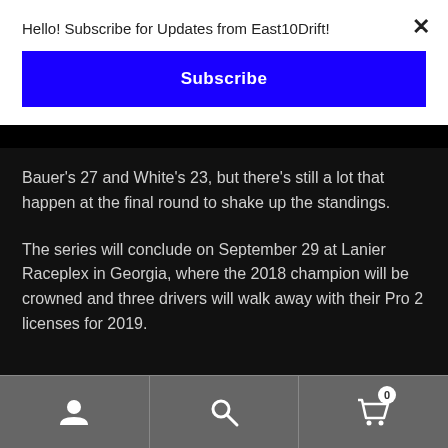Hello! Subscribe for Updates from East10Drift!
Subscribe
Bauer's 27 and White's 23, but there's still a lot that happen at the final round to shake up the standings.
The series will conclude on September 29 at Lanier Raceplex in Georgia, where the 2018 champion will be crowned and three drivers will walk away with their Pro 2 licenses for 2019.
[ user icon ] [ search icon ] [ cart icon 0 ]